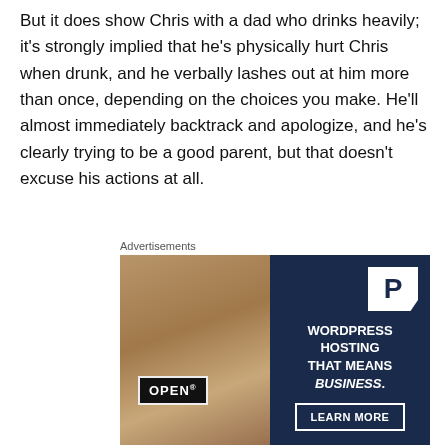But it does show Chris with a dad who drinks heavily; it's strongly implied that he's physically hurt Chris when drunk, and he verbally lashes out at him more than once, depending on the choices you make. He'll almost immediately backtrack and apologize, and he's clearly trying to be a good parent, but that doesn't excuse his actions at all.
Advertisements
[Figure (photo): Advertisement banner: left half shows a woman holding an OPEN sign (photo); right half is dark navy background with a WordPress 'P' logo, text 'WORDPRESS HOSTING THAT MEANS BUSINESS.' and a 'LEARN MORE' button.]